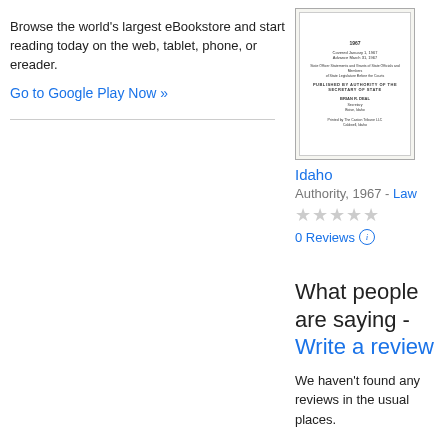Browse the world's largest eBookstore and start reading today on the web, tablet, phone, or ereader.
Go to Google Play Now »
[Figure (illustration): Book cover for Idaho Authority 1967 law book]
Idaho
Authority, 1967 - Law
★★★★★ 0 Reviews
What people are saying - Write a review
We haven't found any reviews in the usual places.